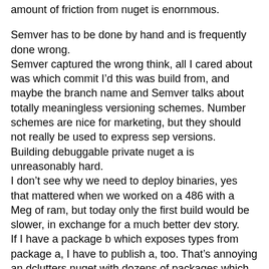amount of friction from nuget is enornmous.
Semver has to be done by hand and is frequently done wrong.
Semver captured the wrong think, all I cared about was which commit I’d this was build from, and maybe the branch name and Semver talks about totally meaningless versioning schemes. Number schemes are nice for marketing, but they should not really be used to express sep versions.
Building debuggable private nuget a is unreasonably hard.
I don’t see why we need to deploy binaries, yes that mattered when we worked on a 486 with a Meg of ram, but today only the first build would be slower, in exchange for a much better dev story.
If I have a package b which exposes types from package a, I have to publish a, too. That’s annoying an dclutters nuget with dozens of packages which